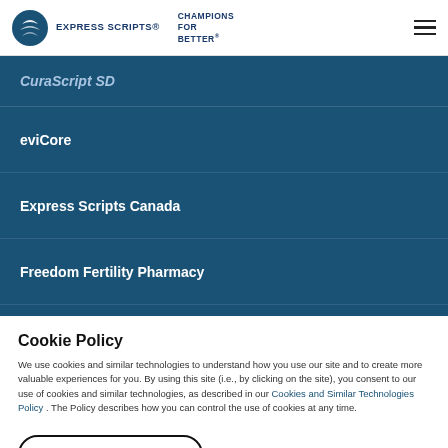EXPRESS SCRIPTS® CHAMPIONS FOR BETTER
CuraScript SD
eviCore
Express Scripts Canada
Freedom Fertility Pharmacy
myMatrixx
Cookie Policy
We use cookies and similar technologies to understand how you use our site and to create more valuable experiences for you. By using this site (i.e., by clicking on the site), you consent to our use of cookies and similar technologies, as described in our Cookies and Similar Technologies Policy . The Policy describes how you can control the use of cookies at any time.
Accept and Close